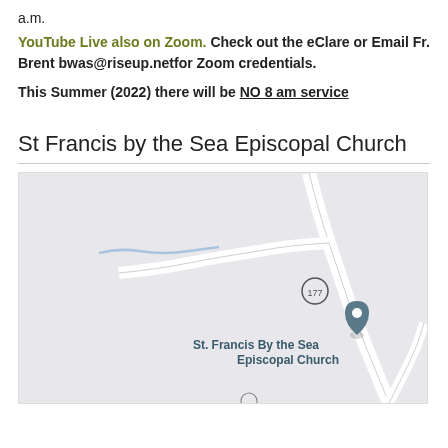a.m.
YouTube Live also on Zoom. Check out the eClare or Email Fr. Brent bwas@riseup.netfor Zoom credentials.
This Summer (2022) there will be NO 8 am service
St Francis by the Sea Episcopal Church
[Figure (map): Google Maps view showing St. Francis By the Sea Episcopal Church location with a road labeled 177 and a location pin with a cross symbol.]